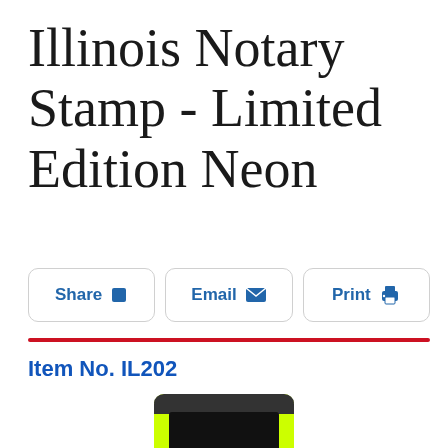Illinois Notary Stamp - Limited Edition Neon
Share | Email | Print
Item No. IL202
[Figure (photo): Partial view of a neon yellow/green notary stamp with black ink pad visible at the bottom of the page]